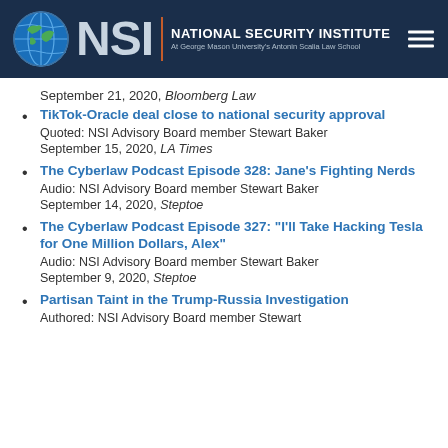NSI NATIONAL SECURITY INSTITUTE At George Mason University's Antonin Scalia Law School
September 21, 2020, Bloomberg Law
TikTok-Oracle deal close to national security approval
Quoted: NSI Advisory Board member Stewart Baker
September 15, 2020, LA Times
The Cyberlaw Podcast Episode 328: Jane's Fighting Nerds
Audio: NSI Advisory Board member Stewart Baker
September 14, 2020, Steptoe
The Cyberlaw Podcast Episode 327: "I'll Take Hacking Tesla for One Million Dollars, Alex"
Audio: NSI Advisory Board member Stewart Baker
September 9, 2020, Steptoe
Partisan Taint in the Trump-Russia Investigation
Authored: NSI Advisory Board member Stewart